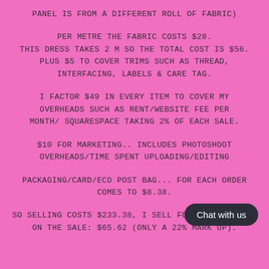PANEL IS FROM A DIFFERENT ROLL OF FABRIC)
PER METRE THE FABRIC COSTS $28.
THIS DRESS TAKES 2 M SO THE TOTAL COST IS $56.
PLUS $5 TO COVER TRIMS SUCH AS THREAD,
INTERFACING, LABELS & CARE TAG.
I FACTOR $49 IN EVERY ITEM TO COVER MY
OVERHEADS SUCH AS RENT/WEBSITE FEE PER
MONTH/ SQUARESPACE TAKING 2% OF EACH SALE.
$10 FOR MARKETING.. INCLUDES PHOTOSHOOT
OVERHEADS/TIME SPENT UPLOADING/EDITING
PACKAGING/CARD/ECO POST BAG... FOR EACH ORDER
COMES TO $8.38.
SO SELLING COSTS $233.38, I SELL FOR $299. PROFIT
ON THE SALE: $65.62 (ONLY A 22% MARK UP).